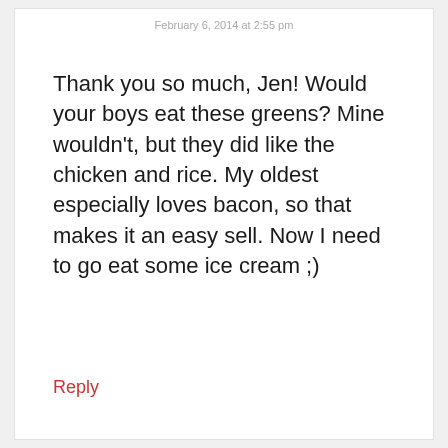February 6, 2014 at 2:55 pm
Thank you so much, Jen! Would your boys eat these greens? Mine wouldn't, but they did like the chicken and rice. My oldest especially loves bacon, so that makes it an easy sell. Now I need to go eat some ice cream ;)
Reply